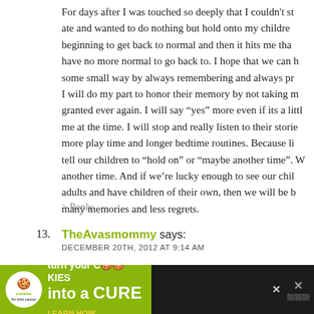For days after I was touched so deeply that I couldn't st ate and wanted to do nothing but hold onto my childre beginning to get back to normal and then it hits me tha have no more normal to go back to. I hope that we can some small way by always remembering and always pr I will do my part to honor their memory by not taking m granted ever again. I will say "yes" more even if its a litt me at the time. I will stop and really listen to their storie more play time and longer bedtime routines. Because li tell our children to "hold on" or "maybe another time". W another time. And if we're lucky enough to see our chil adults and have children of their own, then we will be b many memories and less regrets.
> Reply
13. TheAvasmommy says: DECEMBER 20TH, 2012 AT 9:14 AM
Thanks for writing this, Mike.
[Figure (infographic): Advertisement banner for 'Cookies for Kids' Cancer': turn your cookies into a cure - learn how. Dark background with green section on left showing cookie logo.]